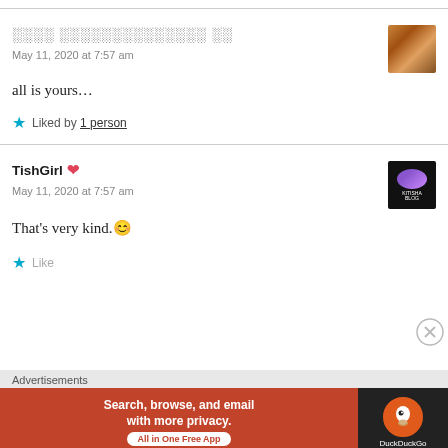░░░░ ░░░░░░░░░░░░░░ ░░
May 11, 2020 at 7:57 am
all is yours…
★ Liked by 1 person
TishGirl❤
May 11, 2020 at 7:57 am
That's very kind.😊
★ Like
Advertisements
[Figure (infographic): DuckDuckGo advertisement banner: orange background with text 'Search, browse, and email with more privacy. All in One Free App' and DuckDuckGo logo on dark background]